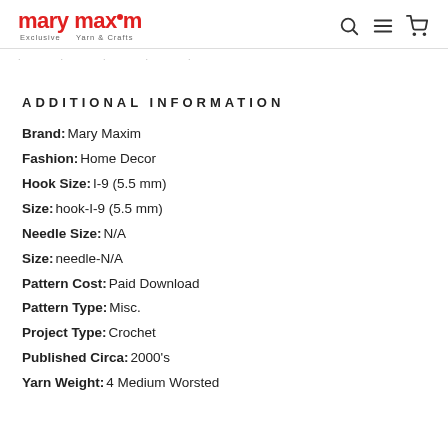mary maxim Exclusive Yarn & Crafts
. . . . .
ADDITIONAL INFORMATION
Brand: Mary Maxim
Fashion: Home Decor
Hook Size: I-9 (5.5 mm)
Size: hook-I-9 (5.5 mm)
Needle Size: N/A
Size: needle-N/A
Pattern Cost: Paid Download
Pattern Type: Misc.
Project Type: Crochet
Published Circa: 2000's
Yarn Weight: 4 Medium Worsted